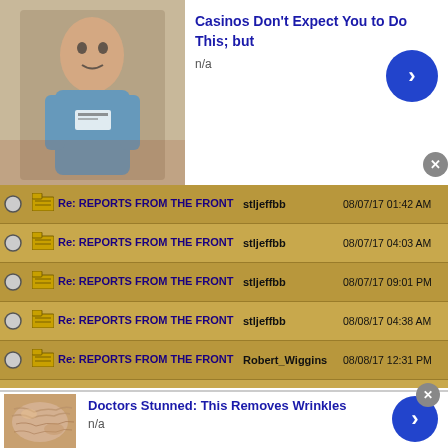[Figure (screenshot): Ad banner: photo of a person in blue shirt, with text 'Casinos Don't Expect You to Do This; but' and 'n/a', blue arrow button, gray close button]
| Subject | Author | Date/Time |
| --- | --- | --- |
| Re: REPORTS FROM THE FRONT | stljeffbb | 08/07/17 01:42 AM |
| Re: REPORTS FROM THE FRONT | stljeffbb | 08/07/17 04:03 AM |
| Re: REPORTS FROM THE FRONT | stljeffbb | 08/07/17 09:01 PM |
| Re: REPORTS FROM THE FRONT | stljeffbb | 08/08/17 04:38 AM |
| Re: REPORTS FROM THE FRONT | Robert_Wiggins | 08/08/17 12:31 PM |
| Re: REPORTS FROM THE FRONT | stljeffbb | 08/08/17 04:47 PM |
[Figure (screenshot): Ad banner: close-up photo of skin/wrinkles, with text 'Doctors Stunned: This Removes Wrinkles' and 'n/a', blue arrow button]